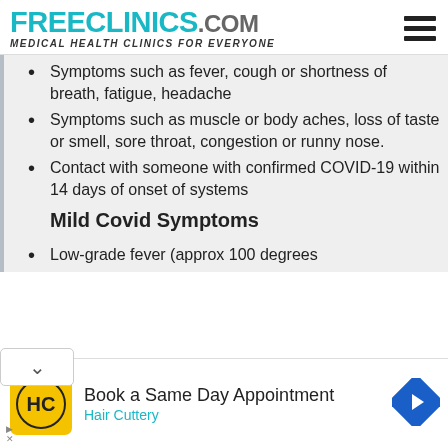FREECLINICS.COM Medical Health Clinics For Everyone
Symptoms such as fever, cough or shortness of breath, fatigue, headache
Symptoms such as muscle or body aches, loss of taste or smell, sore throat, congestion or runny nose.
Contact with someone with confirmed COVID-19 within 14 days of onset of systems
Mild Covid Symptoms
Low-grade fever (approx 100 degrees
[Figure (other): Advertisement banner: Book a Same Day Appointment - Hair Cuttery]